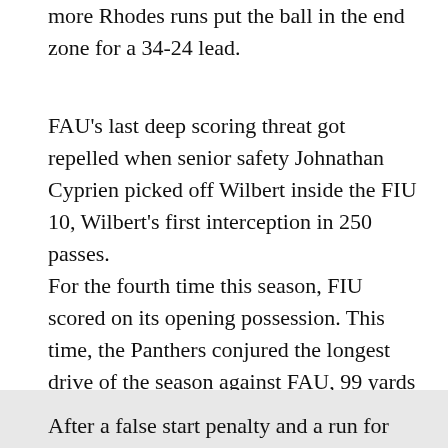more Rhodes runs put the ball in the end zone for a 34-24 lead.
FAU's last deep scoring threat got repelled when senior safety Johnathan Cyprien picked off Wilbert inside the FIU 10, Wilbert's first interception in 250 passes.
For the fourth time this season, FIU scored on its opening possession. This time, the Panthers conjured the longest drive of the season against FAU, 99 yards after Sean Kelly's 64-yard punt pinned the Panthers on their own 1.
After a false start penalty and a run for nothing by